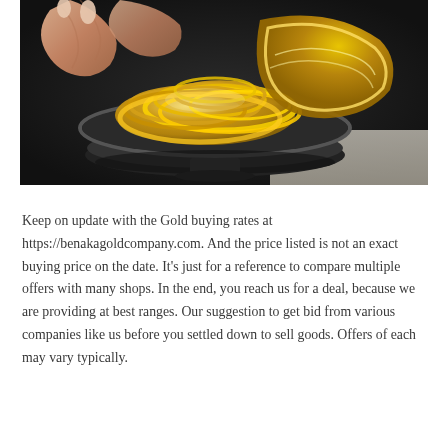[Figure (photo): A photograph of gold bangles/bracelets piled in a dark metal bowl/plate, with a person's hands holding some of the gold jewelry. The items are ornate gold bangles.]
Keep on update with the Gold buying rates at https://benakagoldcompany.com. And the price listed is not an exact buying price on the date. It's just for a reference to compare multiple offers with many shops. In the end, you reach us for a deal, because we are providing at best ranges. Our suggestion to get bid from various companies like us before you settled down to sell goods. Offers of each may vary typically.